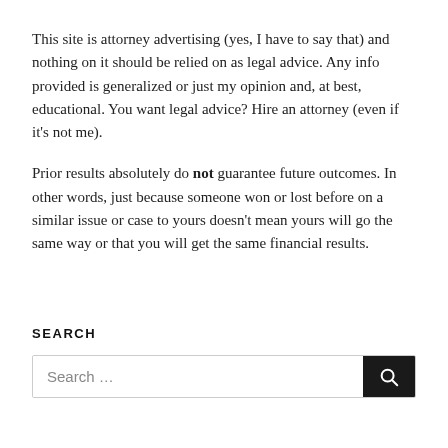This site is attorney advertising (yes, I have to say that) and nothing on it should be relied on as legal advice. Any info provided is generalized or just my opinion and, at best, educational. You want legal advice? Hire an attorney (even if it's not me).
Prior results absolutely do not guarantee future outcomes. In other words, just because someone won or lost before on a similar issue or case to yours doesn't mean yours will go the same way or that you will get the same financial results.
SEARCH